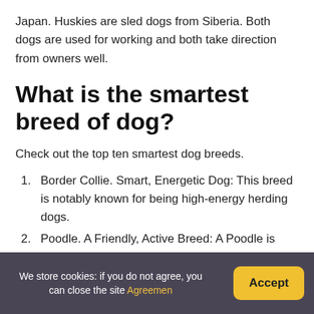Japan. Huskies are sled dogs from Siberia. Both dogs are used for working and both take direction from owners well.
What is the smartest breed of dog?
Check out the top ten smartest dog breeds.
Border Collie. Smart, Energetic Dog: This breed is notably known for being high-energy herding dogs.
Poodle. A Friendly, Active Breed: A Poodle is
We store cookies: if you do not agree, you can close the site Agreemen